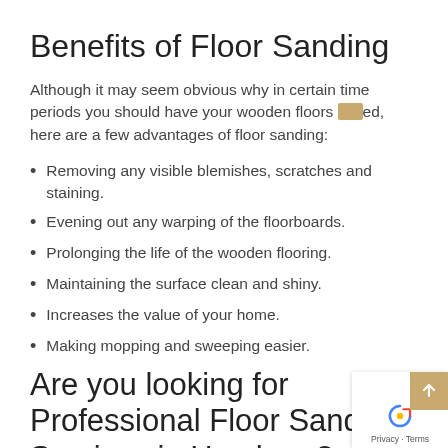Benefits of Floor Sanding
Although it may seem obvious why in certain time periods you should have your wooden floors sanded, here are a few advantages of floor sanding:
Removing any visible blemishes, scratches and staining.
Evening out any warping of the floorboards.
Prolonging the life of the wooden flooring.
Maintaining the surface clean and shiny.
Increases the value of your home.
Making mopping and sweeping easier.
Are you looking for Professional Floor Sanding Services in Hersham?